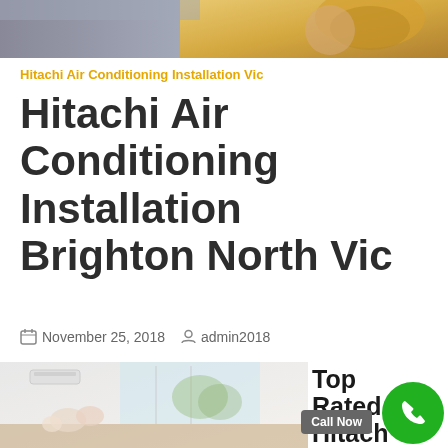[Figure (photo): Top banner photo showing a person in a yellow hard hat, with muted blue/grey tones on the left portion]
Hitachi Air Conditioning Installation Vic
Hitachi Air Conditioning Installation Brighton North Vic
November 25, 2018   admin2018
[Figure (photo): Photo of a family (adults and child) sitting on a bed in a bright white room with a wall-mounted air conditioning unit and large windows. Overlaid with bold text reading 'Top Rated Hitachi Air Conditioning' and a green phone circle button with 'Call Now' label.]